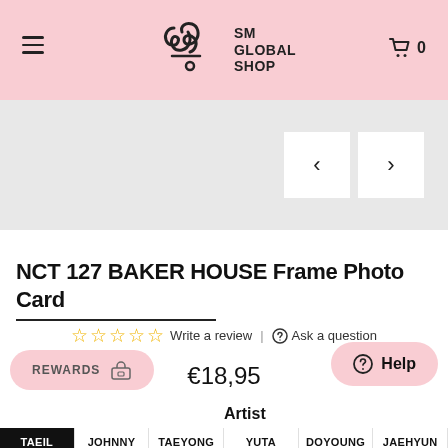SM Global Shop
[Figure (screenshot): Product image slider area with left/right navigation arrows on gray background]
NCT 127 BAKER HOUSE Frame Photo Card
☆☆☆☆☆ Write a review | Ask a question
€18,95
Artist
TAEIL  JOHNNY  TAEYONG  YUTA  DOYOUNG  JAEHYUN